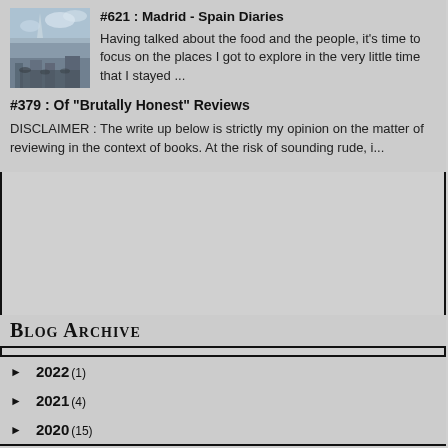[Figure (photo): Thumbnail photo of a city street scene, likely Madrid, with a tall spire or monument visible against a cloudy sky and people on the street.]
#621 : Madrid - Spain Diaries
Having talked about the food and the people, it's time to focus on the places I got to explore in the very little time that I stayed ...
#379 : Of "Brutally Honest" Reviews
DISCLAIMER : The write up below is strictly my opinion on the matter of reviewing in the context of books. At the risk of sounding rude, i...
Blog Archive
► 2022 (1)
► 2021 (4)
► 2020 (15)